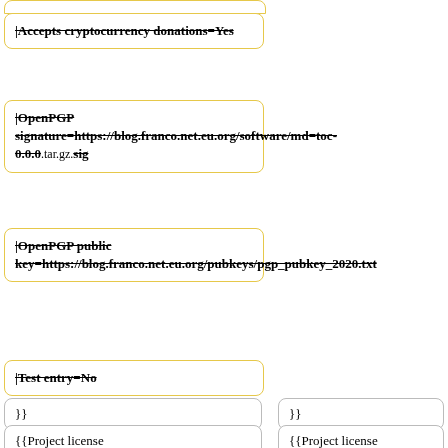|Accepts cryptocurrency donations=Yes
|OpenPGP signature=https://blog.franco.net.eu.org/software/md=toc-0.0.0.tar.gz.sig
|OpenPGP public key=https://blog.franco.net.eu.org/pubkeys/pgp_pubkey_2020.txt
|Test entry=No
}}
}}
{{Project license
{{Project license
|License=GPLv3orlater
|License=GPLv3orlater